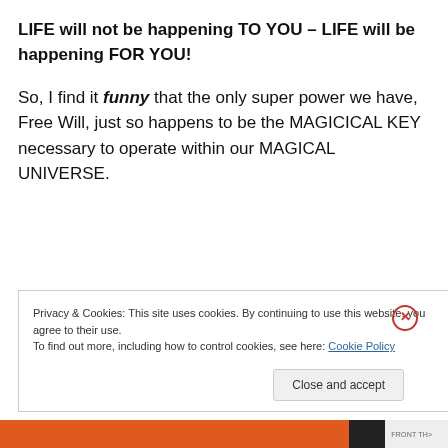LIFE will not be happening TO YOU – LIFE will be happening FOR YOU!
So, I find it funny that the only super power we have, Free Will, just so happens to be the MAGICICAL KEY necessary to operate within our MAGICAL UNIVERSE.
Privacy & Cookies: This site uses cookies. By continuing to use this website, you agree to their use. To find out more, including how to control cookies, see here: Cookie Policy